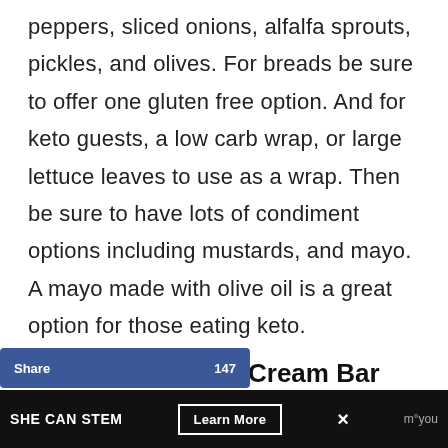peppers, sliced onions, alfalfa sprouts, pickles, and olives.  For breads be sure to offer one gluten free option.  And for keto guests, a low carb wrap, or large lettuce leaves to use as a wrap.  Then be sure to have lots of condiment options including mustards, and mayo.  A mayo made with olive oil is a great option for those eating keto.
Cream Bar
part can be really challenging to